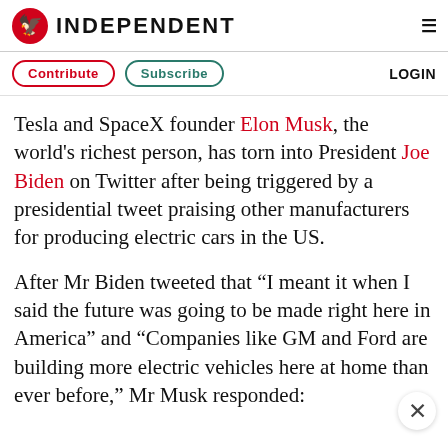INDEPENDENT
Contribute | Subscribe | LOGIN
Tesla and SpaceX founder Elon Musk, the world’s richest person, has torn into President Joe Biden on Twitter after being triggered by a presidential tweet praising other manufacturers for producing electric cars in the US.
After Mr Biden tweeted that “I meant it when I said the future was going to be made right here in America” and “Companies like GM and Ford are building more electric vehicles here at home than ever before,” Mr Musk responded: